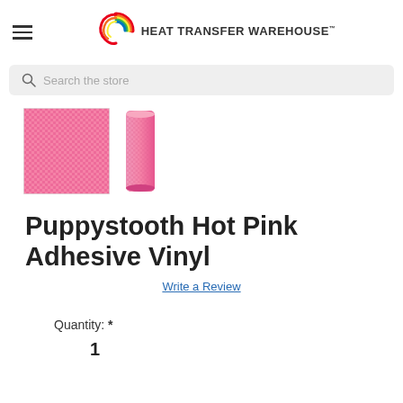HEAT TRANSFER WAREHOUSE™
Search the store
[Figure (photo): Two product thumbnails: a square swatch of hot pink puppystooth pattern adhesive vinyl (left) and a rolled cylinder of the same vinyl (right)]
Puppystooth Hot Pink Adhesive Vinyl
Write a Review
Quantity: *
1